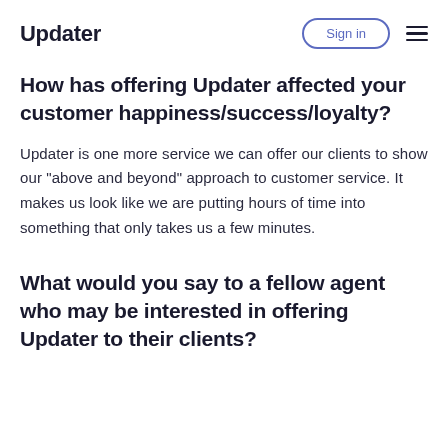Updater | Sign in
How has offering Updater affected your customer happiness/success/loyalty?
Updater is one more service we can offer our clients to show our “above and beyond” approach to customer service. It makes us look like we are putting hours of time into something that only takes us a few minutes.
What would you say to a fellow agent who may be interested in offering Updater to their clients?